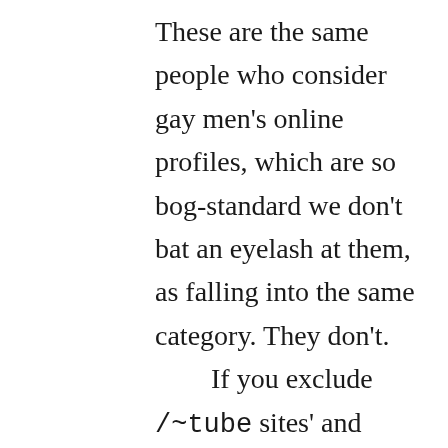These are the same people who consider gay men's online profiles, which are so bog-standard we don't bat an eyelash at them, as falling into the same category. They don't. If you exclude /~tube sites' and possibly Fleshbot's, the only tags remotely classifiable as pornographic are those used by gay males. If